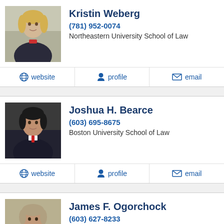[Figure (photo): Professional headshot of Kristin Weberg, a blonde woman in a dark jacket]
Kristin Weberg
(781) 952-0074
Northeastern University School of Law
website  profile  email
[Figure (photo): Professional headshot of Joshua H. Bearce, a man in a dark suit with tie]
Joshua H. Bearce
(603) 695-8675
Boston University School of Law
website  profile  email
[Figure (photo): Professional headshot of James F. Ogorchock, a man in a suit]
James F. Ogorchock
(603) 627-8233
Boston University School of Law